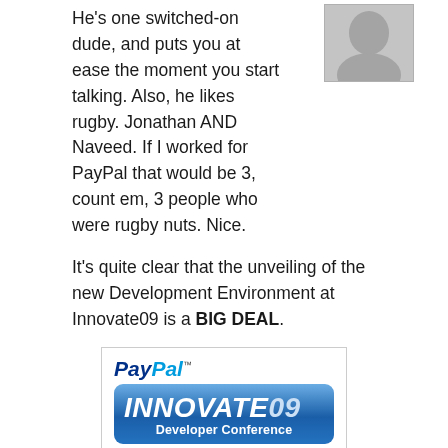He's one switched-on dude, and puts you at ease the moment you start talking. Also, he likes rugby. Jonathan AND Naveed. If I worked for PayPal that would be 3, count em, 3 people who were rugby nuts. Nice.
It's quite clear that the unveiling of the new Development Environment at Innovate09 is a BIG DEAL.
[Figure (logo): PayPal Innovate09 Developer Conference advertisement banner. Shows PayPal logo at top, then a blue rounded rectangle badge with 'INNOVATE09' in large italic white/light text and 'Developer Conference' below it. At the bottom: 'November 3 - 4, 2009 San Francisco, CA' and 'Exclusive $149 Price - Use Promo Code 1BLGBX' in blue italic text.]
It's also quite clear that what the PayPal guys will be unveiling is an even BIGGER DEAL. All of the PayPal folk tonight were excited to talk about what is coming up,